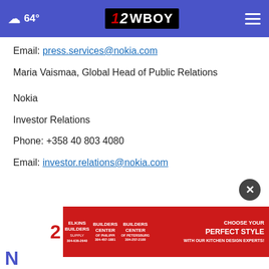64° | 12WBOY
Email: press.services@nokia.com
Maria Vaismaa, Global Head of Public Relations
Nokia
Investor Relations
Phone: +358 40 803 4080
Email: investor.relations@nokia.com
[Figure (screenshot): Bottom advertisement banner for Elkins Builders Supply, Builders Center of Philippi, and Builders Center of Petersburg with text 'Choose Your Perfect Style With Our Kitchen Design Experts!']